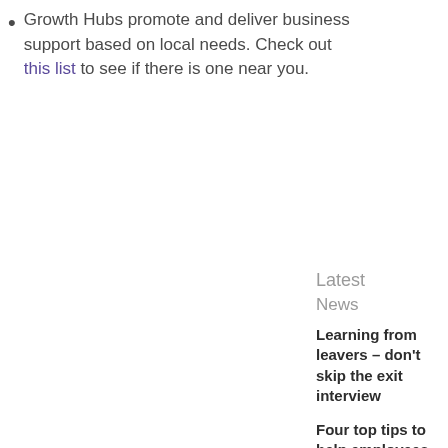Growth Hubs promote and deliver business support based on local needs. Check out this list to see if there is one near you.
Latest
News
Learning from leavers – don't skip the exit interview
Four top tips to help employees make better decisions
Who i...